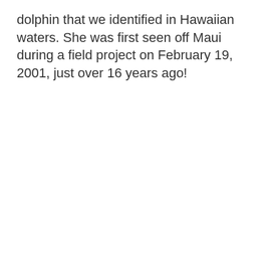dolphin that we identified in Hawaiian waters. She was first seen off Maui during a field project on February 19, 2001, just over 16 years ago!